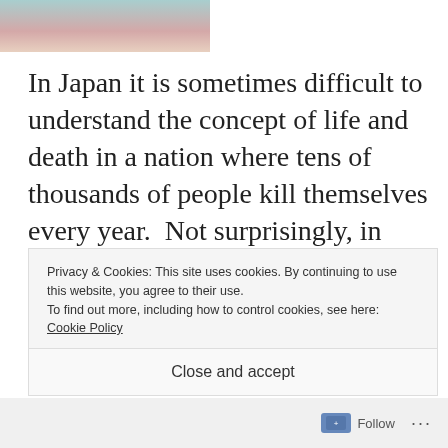[Figure (photo): Partial photo showing a person, cropped at top of page]
In Japan it is sometimes difficult to understand the concept of life and death in a nation where tens of thousands of people kill themselves every year.  Not surprisingly, in such a highly developed nation then new virtual lifestyles appeal to many based on an array of different factors. Therefore, Hatsune Miku is deemed
Privacy & Cookies: This site uses cookies. By continuing to use this website, you agree to their use.
To find out more, including how to control cookies, see here: Cookie Policy
Close and accept